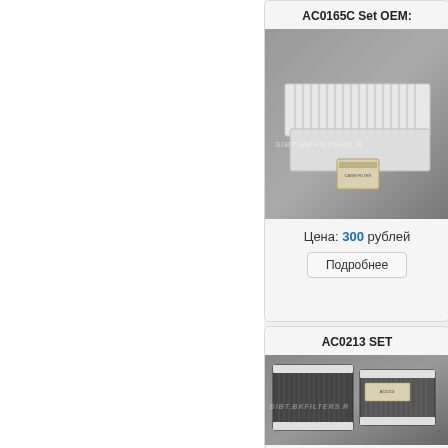AC0165C Set OEM:
[Figure (photo): Photo of AC0165C Set OEM cabin air filter product on grey background with SIBT.BKFILTERS.R watermark]
Цена: 300 рублей
Подробнее
AC0213 SET
[Figure (photo): Photo of AC0213 SET cabin air filter product (dark charcoal filter) on grey background with SIBT.BKFILTERS.R watermark]